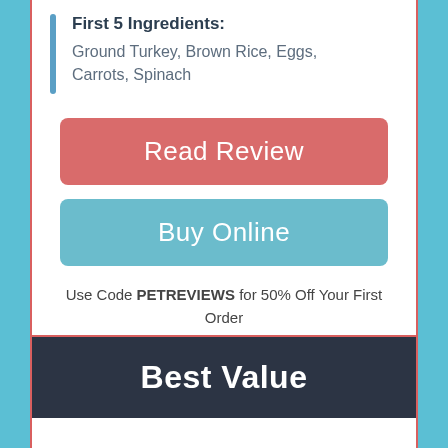First 5 Ingredients:
Ground Turkey, Brown Rice, Eggs, Carrots, Spinach
Read Review
Buy Online
Use Code PETREVIEWS for 50% Off Your First Order
Best Value